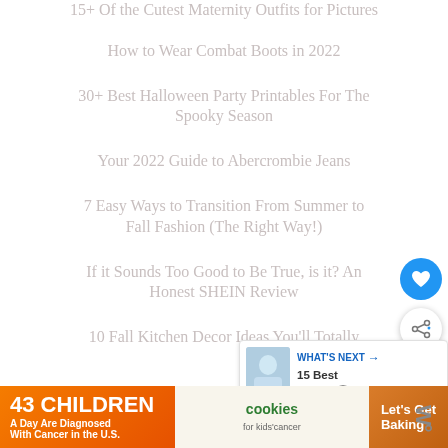15+ Of the Cutest Maternity Outfits for Pictures
How to Wear Combat Boots in 2022
30+ Best Halloween Party Printables For The Spooky Season
Your 2022 Guide to Abercrombie Jeans
7 Easy Ways to Transition From Summer to Fall Fashion (The Right Way!)
If it Sounds Too Good to Be True, is it? An Honest SHEIN Review
10 Fall Kitchen Decor Ideas You'll Totally
[Figure (infographic): Advertisement banner: 43 Children A Day Are Diagnosed With Cancer in the U.S. | cookies for kids cancer | Let's Get Baking]
[Figure (infographic): What's Next card with image of person and text: WHAT'S NEXT -> 15 Best Designer...]
[Figure (infographic): Floating heart button (blue circle) and share button (white circle)]